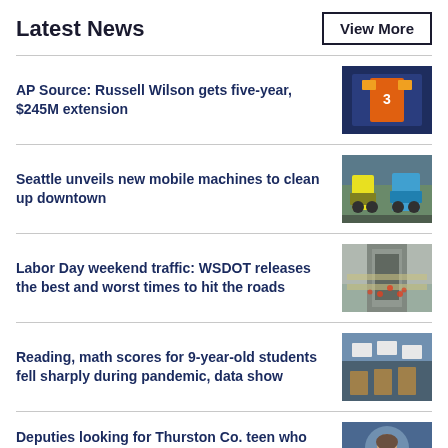Latest News
View More
AP Source: Russell Wilson gets five-year, $245M extension
Seattle unveils new mobile machines to clean up downtown
Labor Day weekend traffic: WSDOT releases the best and worst times to hit the roads
Reading, math scores for 9-year-old students fell sharply during pandemic, data show
Deputies looking for Thurston Co. teen who went missing under 'suspicious circumstances'